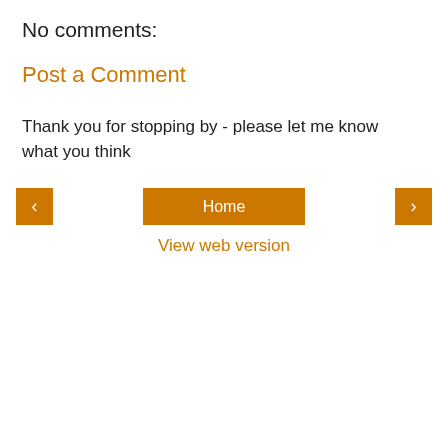No comments:
Post a Comment
Thank you for stopping by - please let me know what you think
‹
Home
›
View web version